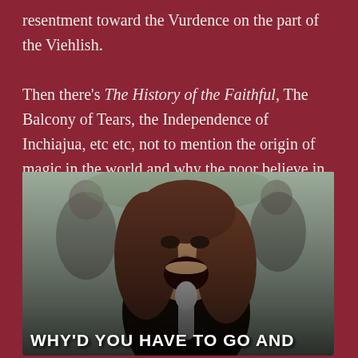resentment toward the Vurdence on the part of the Viehlish.

Then there's The History of the Faithful, The Balcony of Tears, the Independence of Inchiajua, etc etc, not to mention the origin of magic in the world and why the poor believe in it and the rich have turned to science. It's a Whole Thing.
[Figure (photo): A meme image showing a young woman with long brown hair singing or yelling into a microphone, with other people blurred in the background. White bold caption text at the bottom reads: WHY'D YOU HAVE TO GO AND]